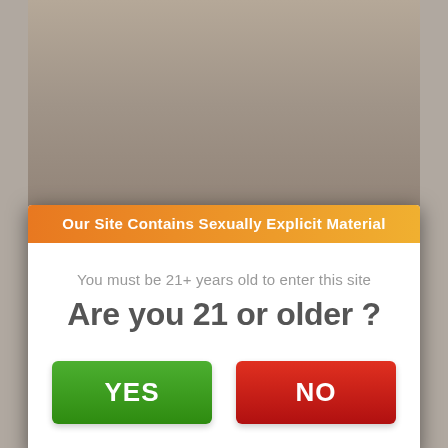[Figure (screenshot): Blurred/darkened background photo of a person, with gray side bars]
Our Site Contains Sexually Explicit Material
You must be 21+ years old to enter this site
Are you 21 or older ?
YES
NO